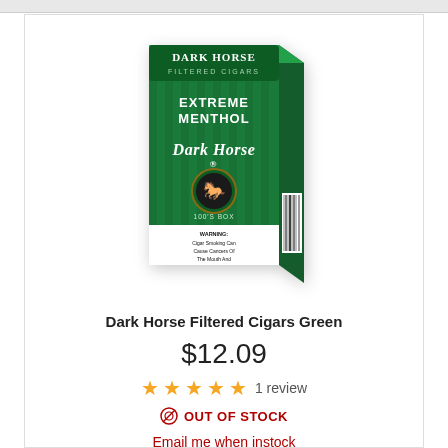[Figure (photo): Dark Horse Filtered Cigars Green product box — green box with vertical stripe design, 'EXTREME MENTHOL' text, Dark Horse branding with horse logo, and a WARNING label about cigar smoking.]
Dark Horse Filtered Cigars Green
$12.09
★★★★★ 1 review
⊗ OUT OF STOCK
Email me when instock